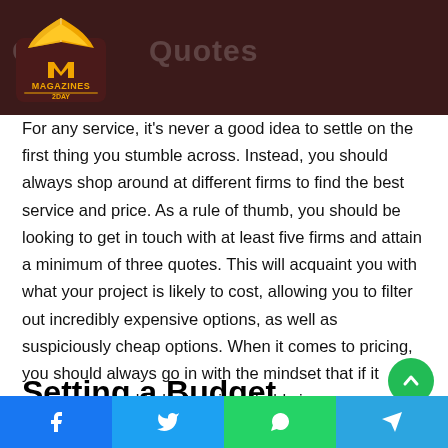Get Quotes
[Figure (logo): Magazines 2day logo — open book with orange/yellow pages above 'MAGAZINES 2DAY' text on dark red banner]
For any service, it's never a good idea to settle on the first thing you stumble across. Instead, you should always shop around at different firms to find the best service and price. As a rule of thumb, you should be looking to get in touch with at least five firms and attain a minimum of three quotes. This will acquaint you with what your project is likely to cost, allowing you to filter out incredibly expensive options, as well as suspiciously cheap options. When it comes to pricing, you should always go in with the mindset that if it seems too good to be true it probably is.
Setting a Budget